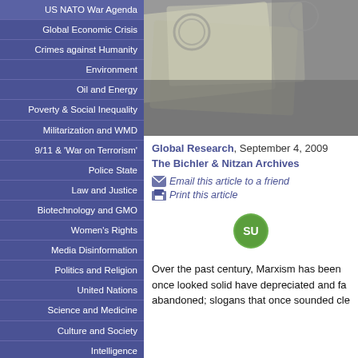US NATO War Agenda
Global Economic Crisis
Crimes against Humanity
Environment
Oil and Energy
Poverty & Social Inequality
Militarization and WMD
9/11 & 'War on Terrorism'
Police State
Law and Justice
Biotechnology and GMO
Women's Rights
Media Disinformation
Politics and Religion
United Nations
Science and Medicine
Culture and Society
Intelligence
[Figure (photo): Blurred photograph of stacked paper currency/banknotes]
Global Research, September 4, 2009
The Bichler & Nitzan Archives
Email this article to a friend
Print this article
[Figure (logo): StumbleUpon green circular logo with 'SU' text]
Archives
Countries
Author Index
Over the past century, Marxism has been once looked solid have depreciated and fa abandoned; slogans that once sounded cle